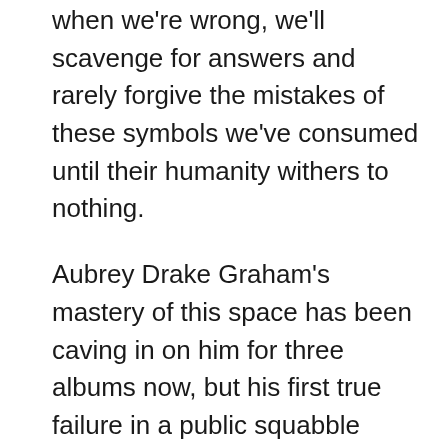when we're wrong, we'll scavenge for answers and rarely forgive the mistakes of these symbols we've consumed until their humanity withers to nothing.

Aubrey Drake Graham's mastery of this space has been caving in on him for three albums now, but his first true failure in a public squabble came at the biggest cost — opportunity, perhaps — he's faced yet: His defensiveness and paranoia now implicates a life he's brought into the world. Whatever Pusha-T truly accomplished in his successful bait, his impact is grand and